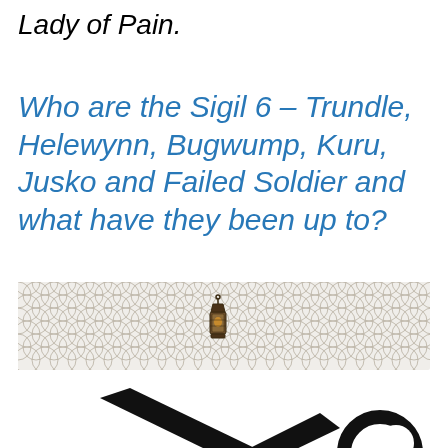Lady of Pain.
Who are the Sigil 6 – Trundle, Helewynn, Bugwump, Kuru, Jusko and Failed Soldier and what have they been up to?
[Figure (illustration): Decorative banner with fish-scale/scallop pattern background and a small heraldic shield/lantern emblem in the center]
[Figure (illustration): Black silhouette illustration of crossed sword and key, with chain rings and ornamental handle elements — Sigil symbol]